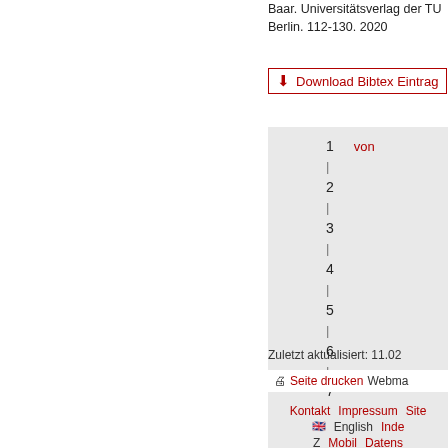Baar. Universitätsverlag der TU Berlin. 112-130. 2020
Download Bibtex Eintrag
[Figure (other): Numbered list widget showing items 1 through 7 with 'von' label, rendered as a grey navigation box]
Zuletzt aktualisiert: 11.02
Seite drucken Webma
Kontakt  Impressum  Site...  English  Index...  Z  Mobil  Datenschutz...